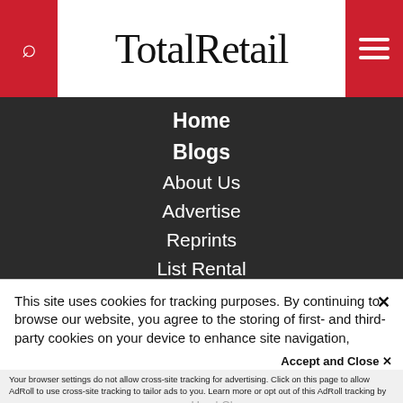TotalRetail
Home
Blogs
About Us
Advertise
Reprints
List Rental
Privacy Policy
This site uses cookies for tracking purposes. By continuing to browse our website, you agree to the storing of first- and third-party cookies on your device to enhance site navigation, analyze site usage, and assist in our marketing and
Accept and Close ✕
Your browser settings do not allow cross-site tracking for advertising. Click on this page to allow AdRoll to use cross-site tracking to tailor ads to you. Learn more or opt out of this AdRoll tracking by clicking here. This message only appears once.